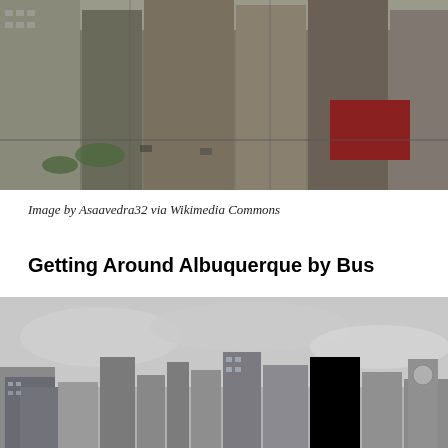[Figure (photo): Aerial view of a dense urban downtown area with tall buildings, streets, and a red rooftop visible, photographed from above.]
Image by Asaavedra32 via Wikimedia Commons
Getting Around Albuquerque by Bus
[Figure (photo): Wide cityscape skyline photo showing multiple tall skyscrapers against an overcast cloudy sky.]